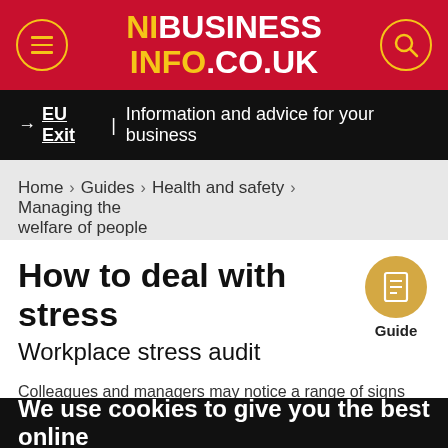[Figure (logo): NIBusinessInfo.co.uk logo on red background with menu hamburger icon and search icon]
→ EU Exit | Information and advice for your business
Home > Guides > Health and safety > Managing the welfare of people
How to deal with stress
Workplace stress audit
[Figure (illustration): Guide icon — orange circle with document/lines icon, labelled Guide]
Colleagues and managers may notice a range of signs from someone suffering from stress.
It can also help you to assess the risks of stress that people in your business may face as part of your health a
Privacy settings
We use cookies to give you the best online